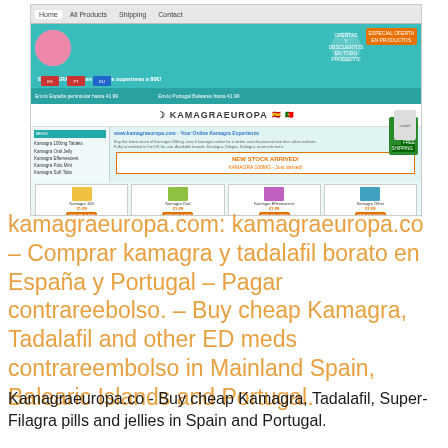[Figure (screenshot): Screenshot of kamagraeuropa.com website showing navigation bar, promotional banner with green/teal design, Kamagra Europa logo, product listings with prices, and new stock arrival section]
kamagraeuropa.com: kamagraeuropa.co – Comprar kamagra y tadalafil borato en España y Portugal – Pagar contrareebolso. – Buy cheap Kamagra, Tadalafil and other ED meds contrareembolso in Mainland Spain, Balearic Islands and Portugal.
Kamagraeuropa.co - Buy cheap Kamagra, Tadalafil, Super-Filagra pills and jellies in Spain and Portugal.